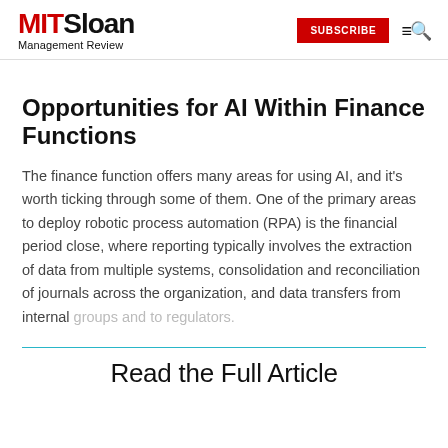MIT Sloan Management Review | SUBSCRIBE
Opportunities for AI Within Finance Functions
The finance function offers many areas for using AI, and it's worth ticking through some of them. One of the primary areas to deploy robotic process automation (RPA) is the financial period close, where reporting typically involves the extraction of data from multiple systems, consolidation and reconciliation of journals across the organization, and data transfers from internal groups and to regulators.
Read the Full Article